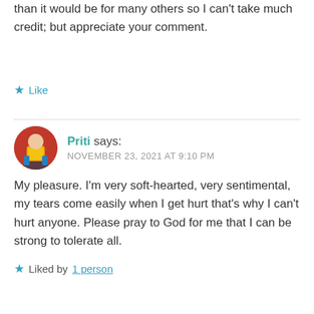than it would be for many others so I can't take much credit; but appreciate your comment.
★ Like
Priti says:
NOVEMBER 23, 2021 AT 9:10 PM
My pleasure. I'm very soft-hearted, very sentimental, my tears come easily when I get hurt that's why I can't hurt anyone. Please pray to God for me that I can be strong to tolerate all.
★ Liked by 1 person